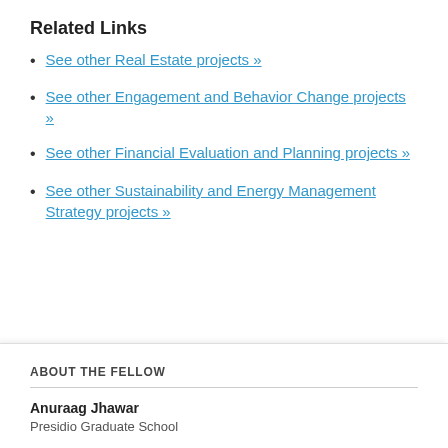Related Links
See other Real Estate projects »
See other Engagement and Behavior Change projects »
See other Financial Evaluation and Planning projects »
See other Sustainability and Energy Management Strategy projects »
ABOUT THE FELLOW
Anuraag Jhawar
Presidio Graduate School